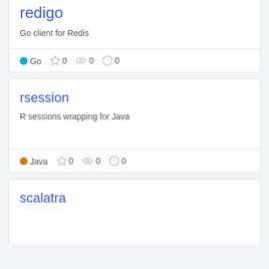redigo
Go client for Redis
● Go ☆ 0 👁 0 ⓘ 0
rsession
R sessions wrapping for Java
● Java ☆ 0 👁 0 ⓘ 0
scalatra